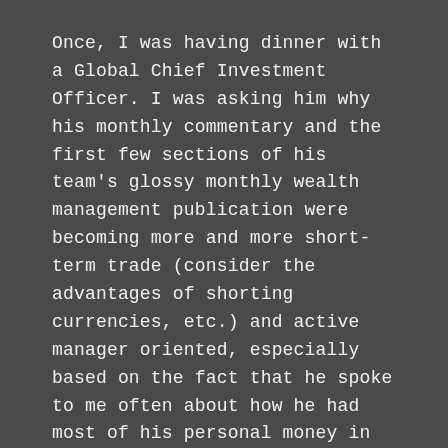Once, I was having dinner with a Global Chief Investment Officer. I was asking him why his monthly commentary and the first few sections of his team's glossy monthly wealth management publication were becoming more and more short-term trade (consider the advantages of shorting currencies, etc.) and active manager oriented, especially based on the fact that he spoke to me often about how he had most of his personal money in index funds. After a little wine, he admitted that most of the pieces would likely not add any value and that some, such as hedging recommendations and currency calls, were quite risky.